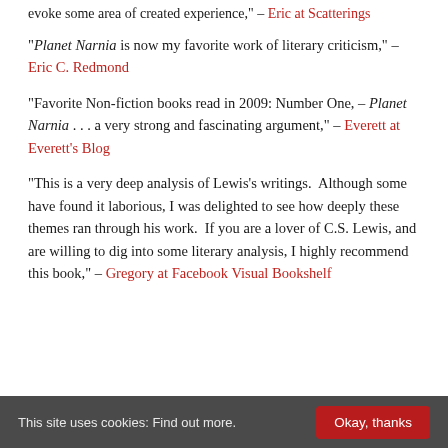evoke some area of created experience," – Eric at Scatterings
"Planet Narnia is now my favorite work of literary criticism," – Eric C. Redmond
"Favorite Non-fiction books read in 2009: Number One, – Planet Narnia . . . a very strong and fascinating argument," – Everett at Everett's Blog
"This is a very deep analysis of Lewis's writings. Although some have found it laborious, I was delighted to see how deeply these themes ran through his work. If you are a lover of C.S. Lewis, and are willing to dig into some literary analysis, I highly recommend this book," – Gregory at Facebook Visual Bookshelf
This site uses cookies: Find out more.